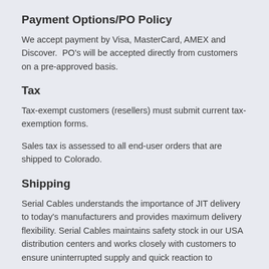Payment Options/PO Policy
We accept payment by Visa, MasterCard, AMEX and Discover.  PO's will be accepted directly from customers on a pre-approved basis.
Tax
Tax-exempt customers (resellers) must submit current tax-exemption forms.
Sales tax is assessed to all end-user orders that are shipped to Colorado.
Shipping
Serial Cables understands the importance of JIT delivery to today's manufacturers and provides maximum delivery flexibility. Serial Cables maintains safety stock in our USA distribution centers and works closely with customers to ensure uninterrupted supply and quick reaction to